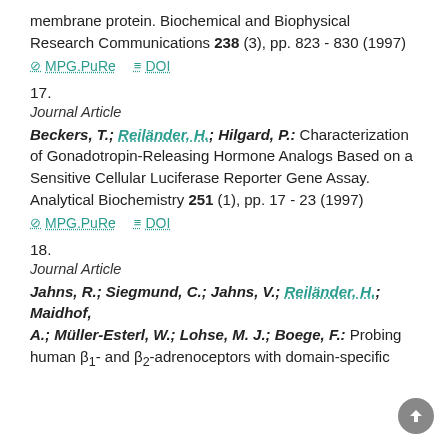membrane protein. Biochemical and Biophysical Research Communications 238 (3), pp. 823 - 830 (1997)
MPG.PuRe  DOI
17.
Journal Article
Beckers, T.; Reiländer, H.; Hilgard, P.: Characterization of Gonadotropin-Releasing Hormone Analogs Based on a Sensitive Cellular Luciferase Reporter Gene Assay. Analytical Biochemistry 251 (1), pp. 17 - 23 (1997)
MPG.PuRe  DOI
18.
Journal Article
Jahns, R.; Siegmund, C.; Jahns, V.; Reiländer, H.; Maidhof, A.; Müller-Esterl, W.; Lohse, M. J.; Boege, F.: Probing human β1- and β2-adrenoceptors with domain-specific